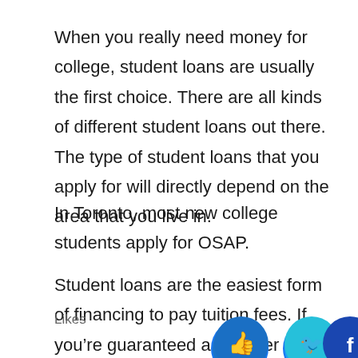When you really need money for college, student loans are usually the first choice. There are all kinds of different student loans out there. The type of student loans that you apply for will directly depend on the area that you live in.
In Toronto, most new college students apply for OSAP.
Student loans are the easiest form of financing to pay tuition fees. If you're guaranteed a job after college, don't mind the debt, can't work during the semester, and have no support from family,
Likes